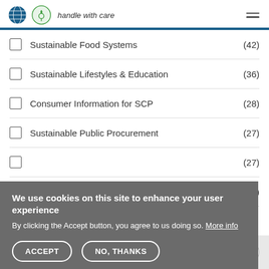handle with care
Sustainable Food Systems (42)
Sustainable Lifestyles & Education (36)
Consumer Information for SCP (28)
Sustainable Public Procurement (27)
(27)
(20)
We use cookies on this site to enhance your user experience
By clicking the Accept button, you agree to us doing so. More info
ACCEPT   NO, THANKS
SECTOR